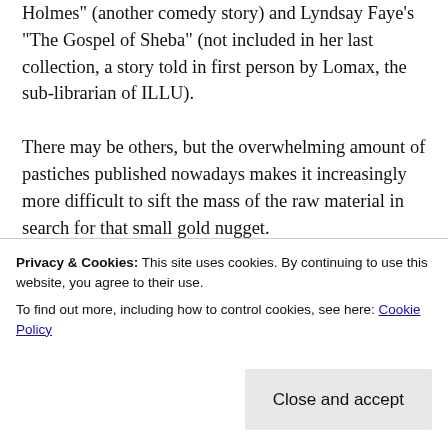Holmes" (another comedy story) and Lyndsay Faye's "The Gospel of Sheba" (not included in her last collection, a story told in first person by Lomax, the sub-librarian of ILLU).
There may be others, but the overwhelming amount of pastiches published nowadays makes it increasingly more difficult to sift the mass of the raw material in search for that small gold nugget.
Privacy & Cookies: This site uses cookies. By continuing to use this website, you agree to their use.
To find out more, including how to control cookies, see here: Cookie Policy
respects, it builds on the characters of Holmes